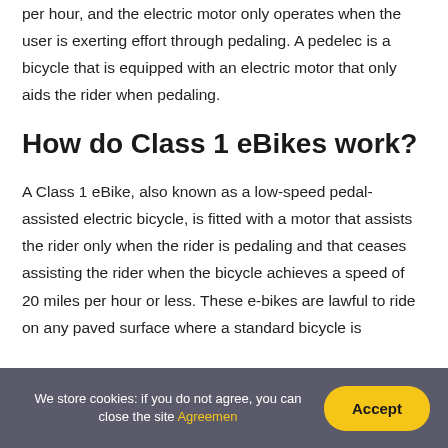per hour, and the electric motor only operates when the user is exerting effort through pedaling. A pedelec is a bicycle that is equipped with an electric motor that only aids the rider when pedaling.
How do Class 1 eBikes work?
A Class 1 eBike, also known as a low-speed pedal-assisted electric bicycle, is fitted with a motor that assists the rider only when the rider is pedaling and that ceases assisting the rider when the bicycle achieves a speed of 20 miles per hour or less. These e-bikes are lawful to ride on any paved surface where a standard bicycle is
We store cookies: if you do not agree, you can close the site Agreemen